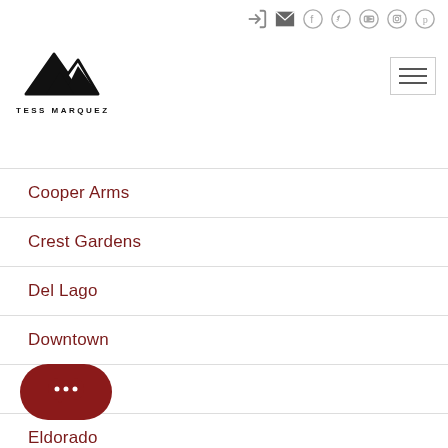Tess Marquez - navigation header with logo and social icons
Cooper Arms
Crest Gardens
Del Lago
Downtown
Eastside
Eldorado
Imperial Estates South
International Towers